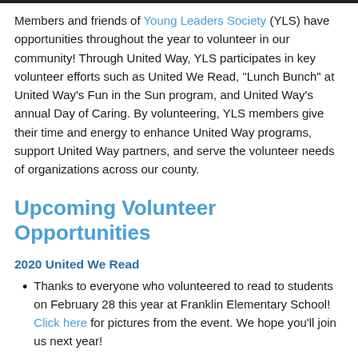Members and friends of Young Leaders Society (YLS) have opportunities throughout the year to volunteer in our community! Through United Way, YLS participates in key volunteer efforts such as United We Read, "Lunch Bunch" at United Way's Fun in the Sun program, and United Way's annual Day of Caring. By volunteering, YLS members give their time and energy to enhance United Way programs, support United Way partners, and serve the volunteer needs of organizations across our county.
Upcoming Volunteer Opportunities
2020 United We Read
Thanks to everyone who volunteered to read to students on February 28 this year at Franklin Elementary School! Click here for pictures from the event. We hope you'll join us next year!